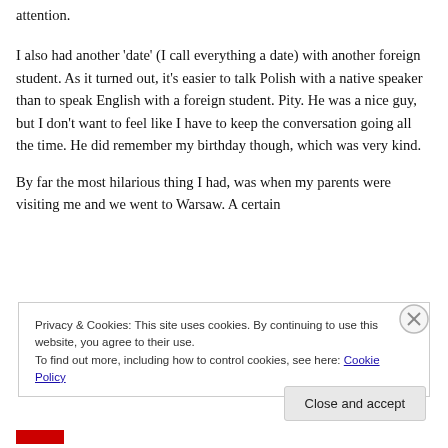attention.
I also had another ‘date’ (I call everything a date) with another foreign student. As it turned out, it’s easier to talk Polish with a native speaker than to speak English with a foreign student. Pity. He was a nice guy, but I don’t want to feel like I have to keep the conversation going all the time. He did remember my birthday though, which was very kind.
By far the most hilarious thing I had, was when my parents were visiting me and we went to Warsaw. A certain
Privacy & Cookies: This site uses cookies. By continuing to use this website, you agree to their use.
To find out more, including how to control cookies, see here: Cookie Policy